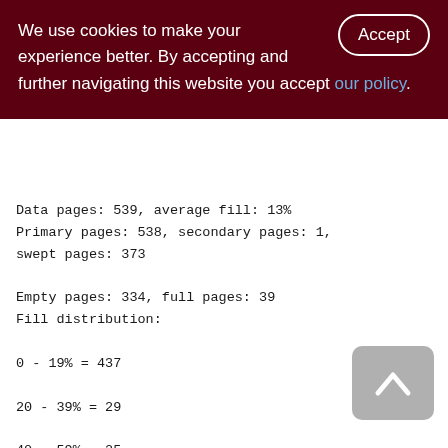We use cookies to make your experience better. By accepting and further navigating this website you accept our policy.
Data pages: 539, average fill: 13%
Primary pages: 538, secondary pages: 1, swept pages: 373
Empty pages: 334, full pages: 39
Fill distribution:
0 - 19% = 437
20 - 39% = 29
40 - 59% = 25
60 - 79% = 17
80 - 99% = 31
Index XQD_2100_3300_WARE_SOP_ROP_SND (0)
Root page: 1215, depth: 2, leaf buckets: